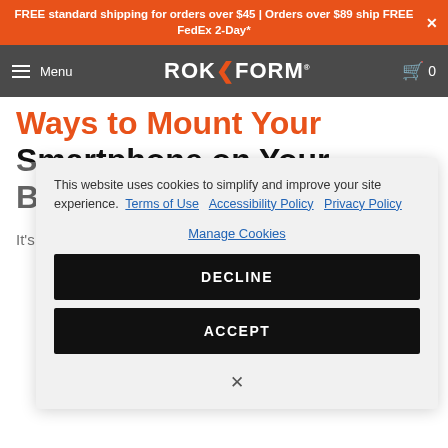FREE standard shipping for orders over $45 | Orders over $89 ship FREE FedEx 2-Day*
Menu | ROKFORM | 0
Ways to Mount Your Smartphone on Your Bike
It's a necessity to have your phone with
This website uses cookies to simplify and improve your site experience. Terms of Use Accessibility Policy Privacy Policy
Manage Cookies
DECLINE
ACCEPT